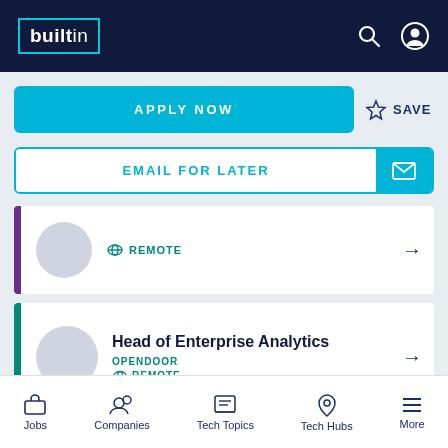builtin
APPLY NOW
SAVE
EMAIL FOR LATER
REMOTE
Head of Enterprise Analytics
OPENDOOR
REMOTE
Staff Data Scientist - Pricing
Jobs  Companies  Tech Topics  Tech Hubs  More